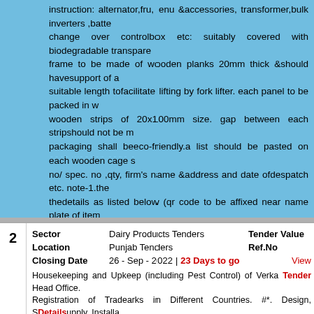instruction: alternator,fru, enu &accessories, transformer,bulk inverters ,battery, change over controlbox etc: suitably covered with biodegradable transparent frame to be made of wooden planks 20mm thick &should havesupport of a suitable length tofacilitate lifting by fork lifter. each panel to be packed in w wooden strips of 20x100mm size. gap between each stripshould not be m packaging shall beeco-friendly.a list should be pasted on each wooden cage s no/ spec. no ,qty, firm's name &address and date ofdespatch etc. note-1.the thedetails as listed below (qr code to be affixed near name plate of item b)purchaseorder number c)purchaseorder date d)uniqueserial number (or lot dry type, as per drawing/specification:edts366,rev-nil,cor-2., &accessories,transformer,bulk inverters , battery, charger, self priming mono. suitably covered with biodegradabletransparent polythene and packed in wo planks 20mm thick &should have support of at least 3 wooden battons ofsize fork lifter. each panel tobe packed in wooden cage of suitable dimensions m between each strip should not be more then 100mm. the materialused for proc pasted on eachwooden cage showing order no, pl no, description of the item date of despatch etc. note-1.the item &its packingshall carry a qr code con affixednear name plate of item &on top of packing) a)name of the manufacturer
|  | Sector |  | Tender Value | Location |  | Ref.No | Closing Date |  |  |
| --- | --- | --- | --- | --- | --- | --- | --- | --- | --- |
| 2 | Sector | Dairy Products Tenders | Tender Value | Location | Punjab Tenders | Ref.No | Closing Date | 26 - Sep - 2022 | 23 Days to go | View |
|  | Housekeeping and Upkeep (including Pest Control) of Verka Head Office. Registration of Tradearks in Different Countries. #*. Design, Supply, Installa |  | Tender Details |  |  |  |  |  |  |